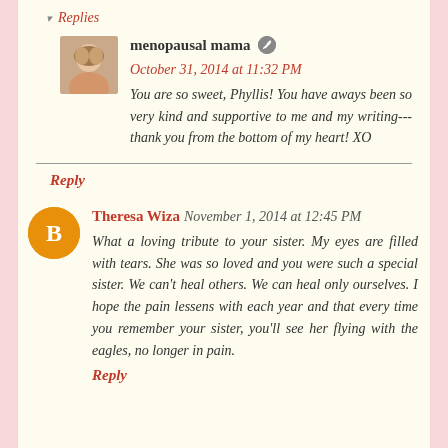▾ Replies
menopausal mama · October 31, 2014 at 11:32 PM
You are so sweet, Phyllis! You have aways been so very kind and supportive to me and my writing---thank you from the bottom of my heart! XO
Reply
Theresa Wiza  November 1, 2014 at 12:45 PM
What a loving tribute to your sister. My eyes are filled with tears. She was so loved and you were such a special sister. We can't heal others. We can heal only ourselves. I hope the pain lessens with each year and that every time you remember your sister, you'll see her flying with the eagles, no longer in pain.
Reply